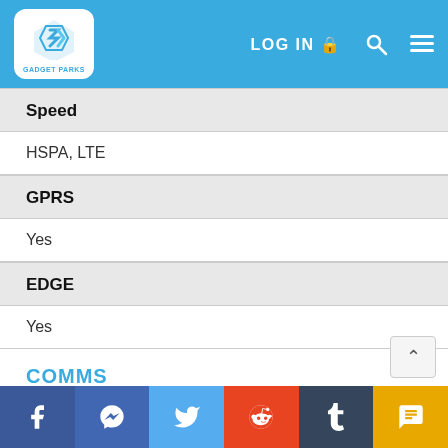Gadget Parks — LOG IN
Speed
HSPA, LTE
GPRS
Yes
EDGE
Yes
COMMS
Bluetooth
4.2, A2DP, LE
WLAN
Facebook | Messenger | Twitter | Reddit | Tumblr | SMS